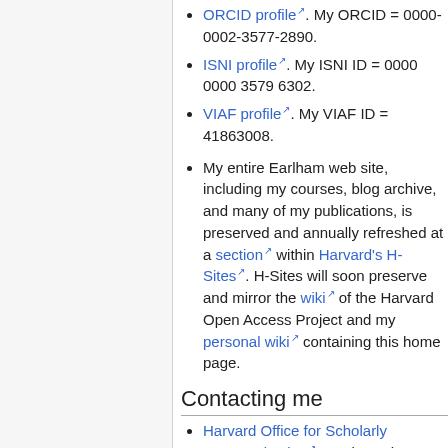ORCID profile. My ORCID = 0000-0002-3577-2890.
ISNI profile. My ISNI ID = 0000 0000 3579 6302.
VIAF profile. My VIAF ID = 41863008.
My entire Earlham web site, including my courses, blog archive, and many of my publications, is preserved and annually refreshed at a section within Harvard's H-Sites. H-Sites will soon preserve and mirror the wiki of the Harvard Open Access Project and my personal wiki containing this home page.
Contacting me
Harvard Office for Scholarly Communication, Wadsworth